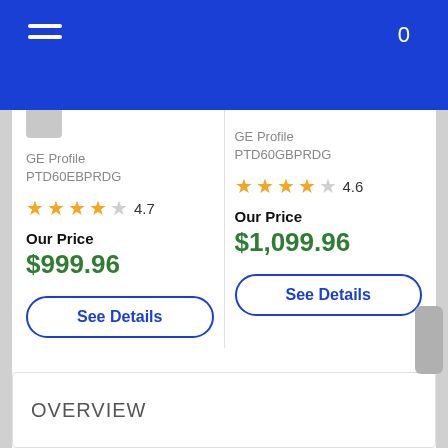0
cu. ft... GE Profile PTD60EBPRDG 4.7 Our Price $999.96
cu. ft... GE Profile PTD60GBPRDG 4.6 Our Price $1,099.96
OVERVIEW